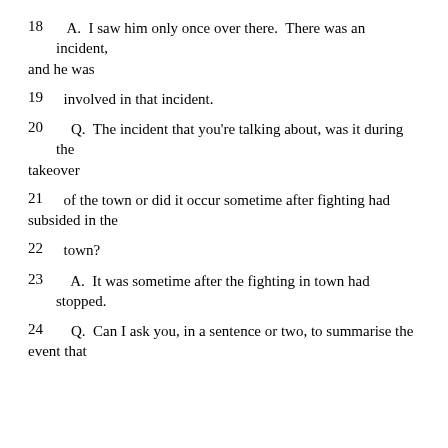18   A.  I saw him only once over there.  There was an incident, and he was
19   involved in that incident.
20   Q.  The incident that you're talking about, was it during the takeover
21   of the town or did it occur sometime after fighting had subsided in the
22   town?
23   A.  It was sometime after the fighting in town had stopped.
24   Q.  Can I ask you, in a sentence or two, to summarise the event that